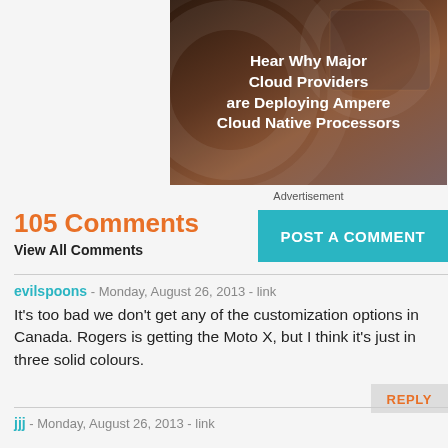[Figure (illustration): Dark brown advertisement banner with white bold text reading 'Hear Why Major Cloud Providers are Deploying Ampere Cloud Native Processors']
Advertisement
105 Comments
View All Comments
POST A COMMENT
evilspoons - Monday, August 26, 2013 - link
It's too bad we don't get any of the customization options in Canada. Rogers is getting the Moto X, but I think it's just in three solid colours.
REPLY
jjj - Monday, August 26, 2013 - link
Maybe worth mentioning that Atmel has a "Sensor Hub" MCU and it's used in S4 and Surface at least but wasn't highlighted in the marketing so it got zero attention.
REPLY
Honest Accounting - Sunday, September 15, 2013 - link
Does this function without (waking up) the main CPU cores?